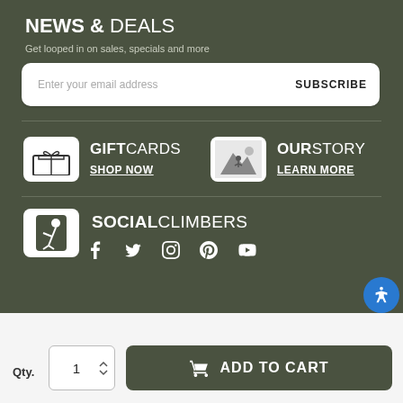NEWS & DEALS
Get looped in on sales, specials and more
Enter your email address   SUBSCRIBE
[Figure (infographic): Gift card icon with bow]
GIFT CARDS
SHOP NOW
[Figure (infographic): Mountain/outdoor scene icon]
OUR STORY
LEARN MORE
[Figure (infographic): Rock climber icon]
SOCIAL CLIMBERS
f  Twitter  Instagram  Pinterest  YouTube (social media icons)
Qty.  1   ADD TO CART